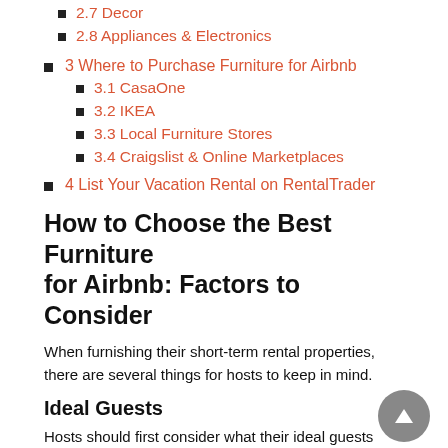2.7 Decor
2.8 Appliances & Electronics
3 Where to Purchase Furniture for Airbnb
3.1 CasaOne
3.2 IKEA
3.3 Local Furniture Stores
3.4 Craigslist & Online Marketplaces
4 List Your Vacation Rental on RentalTrader
How to Choose the Best Furniture for Airbnb: Factors to Consider
When furnishing their short-term rental properties, there are several things for hosts to keep in mind.
Ideal Guests
Hosts should first consider what their ideal guests would like